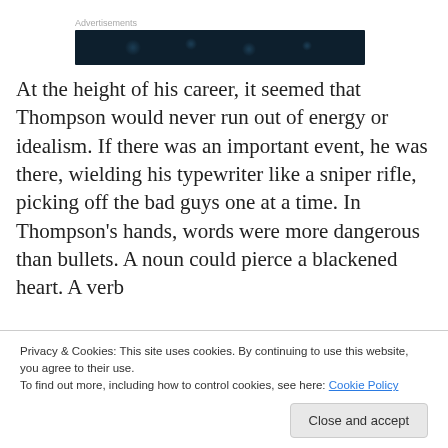Advertisements
[Figure (other): Dark advertisement banner with dot pattern]
At the height of his career, it seemed that Thompson would never run out of energy or idealism. If there was an important event, he was there, wielding his typewriter like a sniper rifle, picking off the bad guys one at a time. In Thompson's hands, words were more dangerous than bullets. A noun could pierce a blackened heart. A verb ceased to be a human being and was transformed into an
Privacy & Cookies: This site uses cookies. By continuing to use this website, you agree to their use.
To find out more, including how to control cookies, see here: Cookie Policy
Close and accept